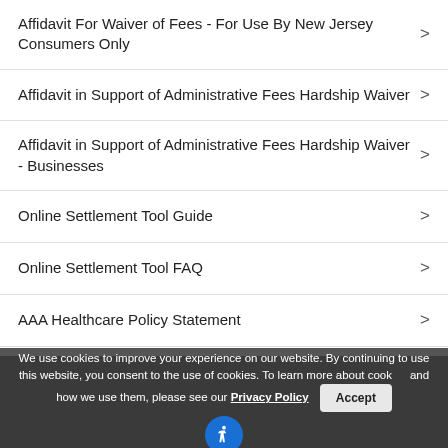Affidavit For Waiver of Fees - For Use By New Jersey Consumers Only
Affidavit in Support of Administrative Fees Hardship Waiver
Affidavit in Support of Administrative Fees Hardship Waiver - Businesses
Online Settlement Tool Guide
Online Settlement Tool FAQ
AAA Healthcare Policy Statement
2021 Consumer Infographic
We use cookies to improve your experience on our website. By continuing to use this website, you consent to the use of cookies. To learn more about cookies and how we use them, please see our Privacy Policy  Accept